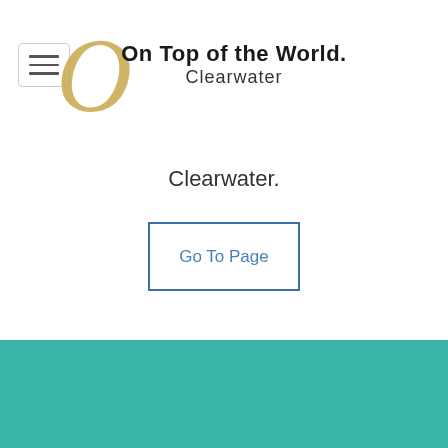[Figure (logo): On Top of the World Clearwater logo with decorative gold cursive O and bold black text]
Clearwater.
Go To Page